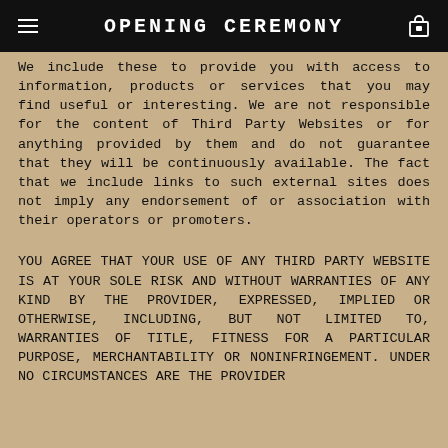OPENING CEREMONY
We include these to provide you with access to information, products or services that you may find useful or interesting. We are not responsible for the content of Third Party Websites or for anything provided by them and do not guarantee that they will be continuously available. The fact that we include links to such external sites does not imply any endorsement of or association with their operators or promoters.
YOU AGREE THAT YOUR USE OF ANY THIRD PARTY WEBSITE IS AT YOUR SOLE RISK AND WITHOUT WARRANTIES OF ANY KIND BY THE PROVIDER, EXPRESSED, IMPLIED OR OTHERWISE, INCLUDING, BUT NOT LIMITED TO, WARRANTIES OF TITLE, FITNESS FOR A PARTICULAR PURPOSE, MERCHANTABILITY OR NONINFRINGEMENT. UNDER NO CIRCUMSTANCES ARE THE PROVIDER